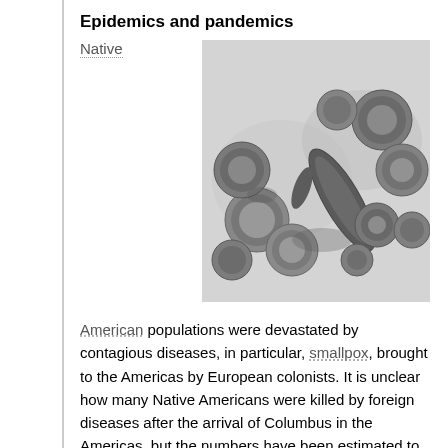Epidemics and pandemics
Native
[Figure (photo): Black and white electron microscope image of virus particles (likely smallpox or influenza virions), showing round and elongated morphologies.]
American populations were devastated by contagious diseases, in particular, smallpox, brought to the Americas by European colonists. It is unclear how many Native Americans were killed by foreign diseases after the arrival of Columbus in the Americas, but the numbers have been estimated to be close to 70% of the indigenous population. The damage done by this disease significantly aided European attempts to displace and conquer the native population.